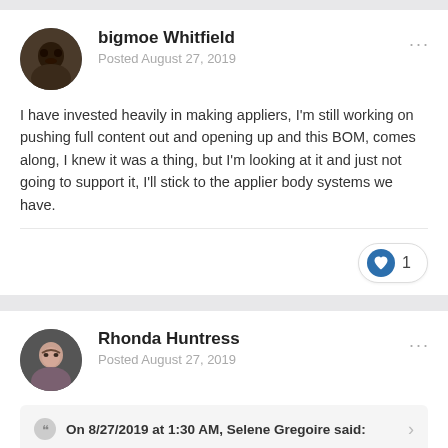bigmoe Whitfield
Posted August 27, 2019
I have invested heavily in making appliers, I'm still working on pushing full content out and opening up and this BOM,  comes along, I knew it was a thing, but I'm looking at it and just not going to support it,  I'll stick to the applier body systems we have.
1
Rhonda Huntress
Posted August 27, 2019
On 8/27/2019 at 1:30 AM, Selene Gregoire said: